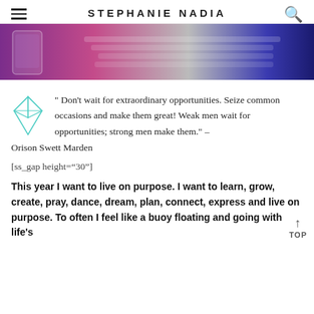STEPHANIE NADIA
[Figure (photo): Hero image showing a keyboard, smartphone, and purple/pink lighting]
" Don't wait for extraordinary opportunities. Seize common occasions and make them great! Weak men wait for opportunities; strong men make them." – Orison Swett Marden
[ss_gap height="30"]
This year I want to live on purpose. I want to learn, grow, create, pray, dance, dream, plan, connect, express and live on purpose. To often I feel like a buoy floating and going with life's